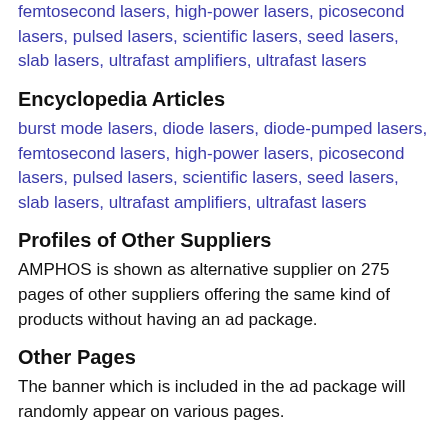femtosecond lasers, high-power lasers, picosecond lasers, pulsed lasers, scientific lasers, seed lasers, slab lasers, ultrafast amplifiers, ultrafast lasers
Encyclopedia Articles
burst mode lasers, diode lasers, diode-pumped lasers, femtosecond lasers, high-power lasers, picosecond lasers, pulsed lasers, scientific lasers, seed lasers, slab lasers, ultrafast amplifiers, ultrafast lasers
Profiles of Other Suppliers
AMPHOS is shown as alternative supplier on 275 pages of other suppliers offering the same kind of products without having an ad package.
Other Pages
The banner which is included in the ad package will randomly appear on various pages.